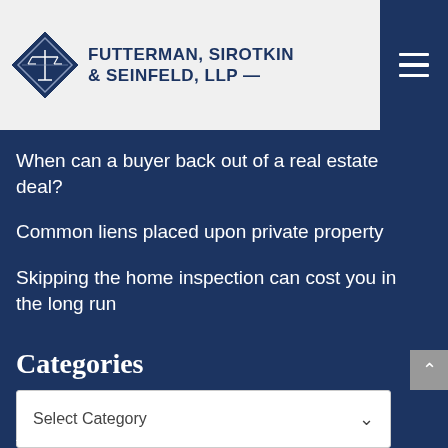FUTTERMAN, SIROTKIN & SEINFELD, LLP —
When can a buyer back out of a real estate deal?
Common liens placed upon private property
Skipping the home inspection can cost you in the long run
Categories
Select Category
Archive